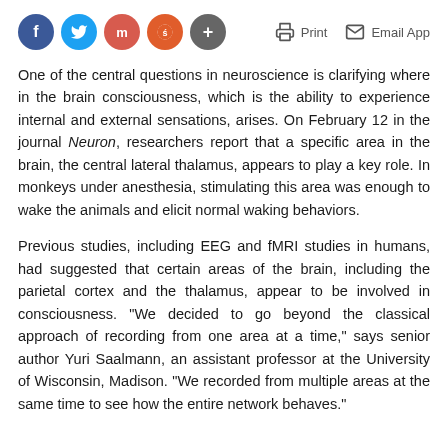Social share icons (Facebook, Twitter, Mastodon, Reddit, Plus) | Print | Email App
One of the central questions in neuroscience is clarifying where in the brain consciousness, which is the ability to experience internal and external sensations, arises. On February 12 in the journal Neuron, researchers report that a specific area in the brain, the central lateral thalamus, appears to play a key role. In monkeys under anesthesia, stimulating this area was enough to wake the animals and elicit normal waking behaviors.
Previous studies, including EEG and fMRI studies in humans, had suggested that certain areas of the brain, including the parietal cortex and the thalamus, appear to be involved in consciousness. "We decided to go beyond the classical approach of recording from one area at a time," says senior author Yuri Saalmann, an assistant professor at the University of Wisconsin, Madison. "We recorded from multiple areas at the same time to see how the entire network behaves."